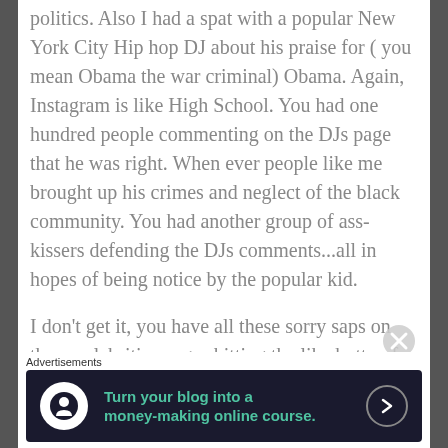politics. Also I had a spat with a popular New York City Hip hop DJ about his praise for ( you mean Obama the war criminal) Obama. Again, Instagram is like High School. You had one hundred people commenting on the DJs page that he was right. When ever people like me brought up his crimes and neglect of the black community. You had another group of ass-kissers defending the DJs comments...all in hopes of being notice by the popular kid.

I don't get it, you have all these sorry saps on these celebrities pages hitting the like button for
Advertisements
[Figure (other): Advertisement banner with dark background reading 'Turn your blog into a money-making online course.' with a tree/person icon and right arrow.]